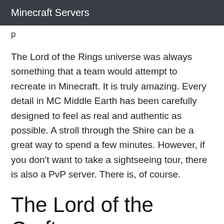Minecraft Servers
p
The Lord of the Rings universe was always something that a team would attempt to recreate in Minecraft. It is truly amazing. Every detail in MC Middle Earth has been carefully designed to feel as real and authentic as possible. A stroll through the Shire can be a great way to spend a few minutes. However, if you don't want to take a sightseeing tour, there is also a PvP server. There is, of course.
The Lord of the Craft